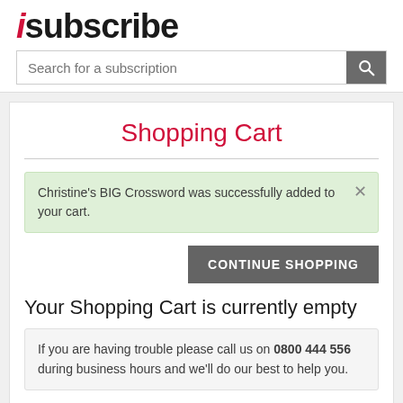isubscribe
Search for a subscription
Shopping Cart
Christine's BIG Crossword was successfully added to your cart.
CONTINUE SHOPPING
Your Shopping Cart is currently empty
If you are having trouble please call us on 0800 444 556 during business hours and we'll do our best to help you.